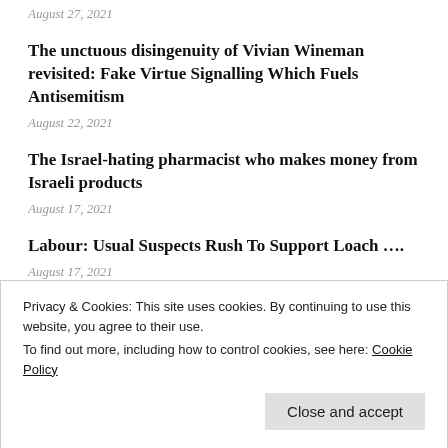August 27, 2021
The unctuous disingenuity of Vivian Wineman revisited: Fake Virtue Signalling Which Fuels Antisemitism
August 22, 2021
The Israel-hating pharmacist who makes money from Israeli products
August 17, 2021
Labour: Usual Suspects Rush To Support Loach ….
August 17, 2021
Oryszczuk's Leftist Propaganda in Jewish News
Privacy & Cookies: This site uses cookies. By continuing to use this website, you agree to their use.
To find out more, including how to control cookies, see here: Cookie Policy